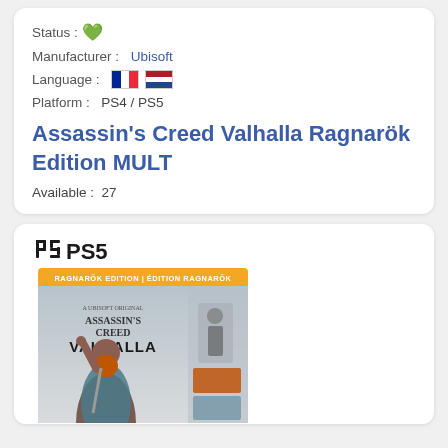Status : ✔
Manufacturer : Ubisoft
Language : [FR flag] [NL flag]
Platform : PS4 / PS5
Assassin's Creed Valhalla Ragnarök Edition MULT
Available : 27
[Figure (photo): PS5 game box for Assassin's Creed Valhalla Ragnarök Edition showing a Viking warrior with an orange banner reading RAGNARÖK EDITION | ÉDITION RAGNARÖK]